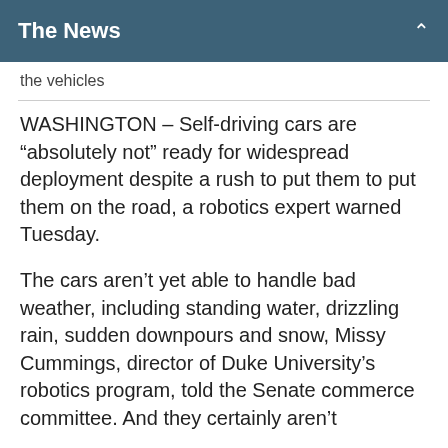The News
the vehicles
WASHINGTON – Self-driving cars are “absolutely not” ready for widespread deployment despite a rush to put them to put them on the road, a robotics expert warned Tuesday.
The cars aren’t yet able to handle bad weather, including standing water, drizzling rain, sudden downpours and snow, Missy Cummings, director of Duke University’s robotics program, told the Senate commerce committee. And they certainly aren’t